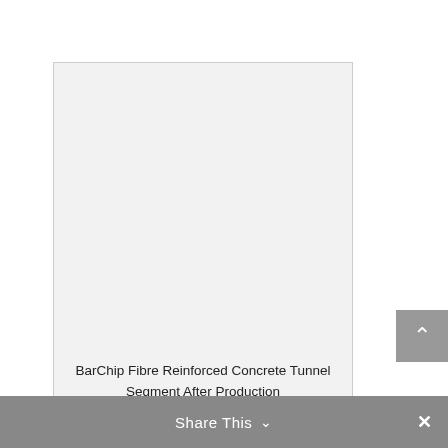[Figure (photo): A large light gray placeholder rectangle representing a photo of a BarChip Fibre Reinforced Concrete Tunnel Segment After Production. The image area is mostly empty/blank with a caption below.]
BarChip Fibre Reinforced Concrete Tunnel Segment After Production
Share This ∨  ×